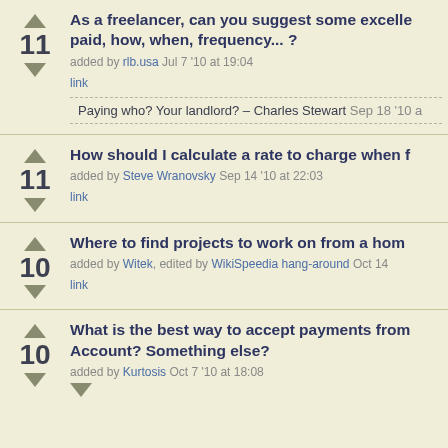As a freelancer, can you suggest some excelle... paid, how, when, frequency... ? — votes: 11, added by rlb.usa Jul 7 '10 at 19:04, comment: Paying who? Your landlord? – Charles Stewart Sep 18 '10 a
How should I calculate a rate to charge when f... — votes: 11, added by Steve Wranovsky Sep 14 '10 at 22:03
Where to find projects to work on from a hom... — votes: 10, added by Witek, edited by WikiSpeedia hang-around Oct 14
What is the best way to accept payments from... Account? Something else? — votes: 10, added by Kurtosis Oct 7 '10 at 18:08